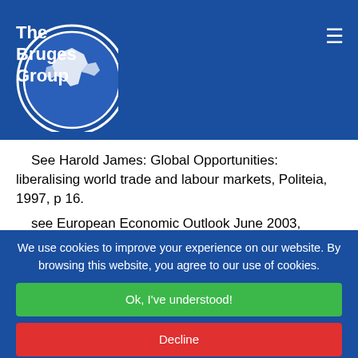[Figure (logo): The Bruges Group logo — white text on blue circle with Europe map graphic]
See Harold James: Global Opportunities: liberalising world trade and labour markets, Politeia, 1997, p 16.
see European Economic Outlook June 2003, Pricewaterhouse Coopers
I continue to be indebted to the insights of Professor Patrick Minford of Liverpool University and the Cardiff Business School. Not only have his insights in Britain and
We use cookies to improve your experience on our website. By browsing this website, you agree to our use of cookies.
Ok, I've understood!
Decline